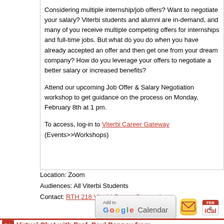Considering multiple internship/job offers? Want to negotiate your salary? Viterbi students and alumni are in-demand, and many of you receive multiple competing offers for internships and full-time jobs. But what do you do when you have already accepted an offer and then get one from your dream company? How do you leverage your offers to negotiate a better salary or increased benefits?
Attend our upcoming Job Offer & Salary Negotiation workshop to get guidance on the process on Monday, February 8th at 1 pm.
To access, log-in to Viterbi Career Gateway (Events>>Workshops)
Location: Zoom
Audiences: All Viterbi Students
Contact: RTH 218 Viterbi Career Connections
[Figure (other): Add to Google Calendar button, email icon, and iCal icon]
Virtual Chat with Prof. Paul Penney from